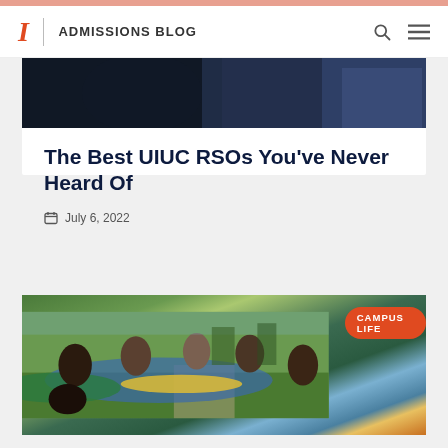ADMISSIONS BLOG
[Figure (photo): Dark photo of a student studying, dimly lit background]
The Best UIUC RSOs You've Never Heard Of
July 6, 2022
[Figure (photo): Group of smiling students relaxing in colorful blue and yellow hammocks on a grassy campus area. A red pill-shaped badge reads CAMPUS LIFE.]
How to Find a College Club